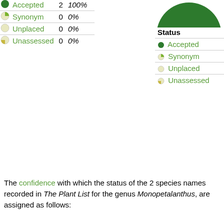|  | Status | Count | Percent |
| --- | --- | --- | --- |
| ● | Accepted | 2 | 100% |
| ◑ | Synonym | 0 | 0% |
| ○ | Unplaced | 0 | 0% |
| ◕ | Unassessed | 0 | 0% |
[Figure (pie-chart): Species status distribution]
|  | Status | Total |
| --- | --- | --- |
| ● | Accepted | 2 1... |
| ◑ | Synonym | 0 |
| ○ | Unplaced | 0 |
| ◕ | Unassessed | 0 |
The confidence with which the status of the 2 species names recorded in The Plant List for the genus Monopetalanthus, are assigned as follows:
|  | Confidence level | Accepted | Sy... |
| --- | --- | --- | --- |
| ★★★ | High confidence | 0 |  |
| ★★☆ | Medium confidence | 2 |  |
| ★☆☆ | Low confidence | 0 |  |